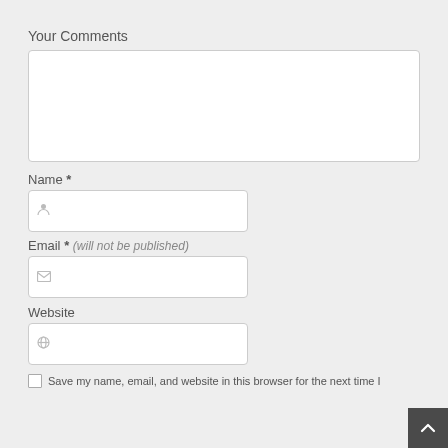Your Comments
[Figure (screenshot): Empty comment textarea input box]
Name *
[Figure (screenshot): Name input field with person icon]
Email * (will not be published)
[Figure (screenshot): Email input field with envelope icon]
Website
[Figure (screenshot): Website input field with globe icon]
Save my name, email, and website in this browser for the next time I